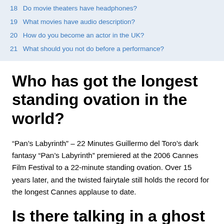18 Do movie theaters have headphones?
19 What movies have audio description?
20 How do you become an actor in the UK?
21 What should you not do before a performance?
Who has got the longest standing ovation in the world?
“Pan’s Labyrinth” – 22 Minutes Guillermo del Toro’s dark fantasy “Pan’s Labyrinth” premiered at the 2006 Cannes Film Festival to a 22-minute standing ovation. Over 15 years later, and the twisted fairytale still holds the record for the longest Cannes applause to date.
Is there talking in a ghost story?